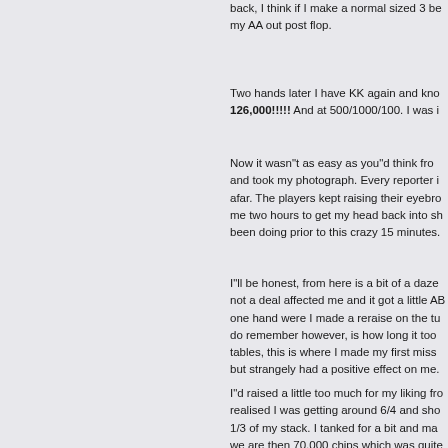back, I think if I make a normal sized 3 be my AA out post flop.
Two hands later I have KK again and kno 126,000!!!!! And at 500/1000/100. I was i
Now it wasn"t as easy as you"d think from and took my photograph. Every reporter i afar. The players kept raising their eyebro me two hours to get my head back into sh been doing prior to this crazy 15 minutes.
I"ll be honest, from here is a bit of a daze not a deal affected me and it got a little AB one hand were I made a reraise on the tu do remember however, is how long it too tables, this is where I made my first miss but strangely had a positive effect on me.
I"d raised a little too much for my liking fro realised I was getting around 6/4 and sho 1/3 of my stack. I tanked for a bit and ma we are then 70,000 chips which was quite least as I should have had a better idea o shouldn"t have made such a large raise. together.